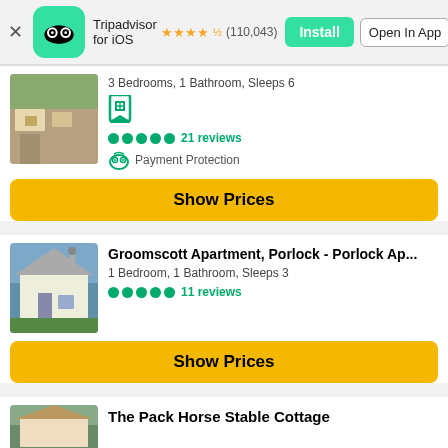Tripadvisor for iOS ★★★★½ (110,043) Install | Open In App
3 Bedrooms, 1 Bathroom, Sleeps 6
21 reviews
Payment Protection
Show Prices
Groomscott Apartment, Porlock - Porlock Ap...
1 Bedroom, 1 Bathroom, Sleeps 3
11 reviews
Show Prices
The Pack Horse Stable Cottage